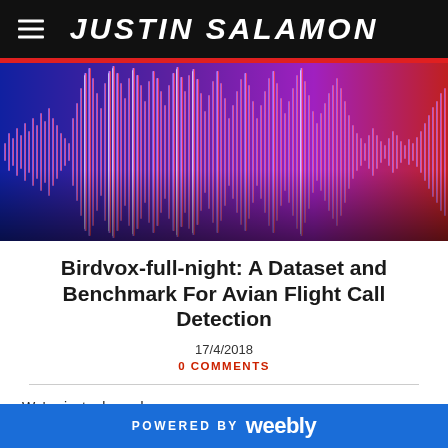JUSTIN SALAMON
[Figure (illustration): Audio waveform visualization on dark background with purple, blue, pink and red gradient colors, showing tall spike waveforms in the center transitioning to red on the right.]
Birdvox-full-night: A Dataset and Benchmark For Avian Flight Call Detection
17/4/2018
0 COMMENTS
We've just released
POWERED BY weebly